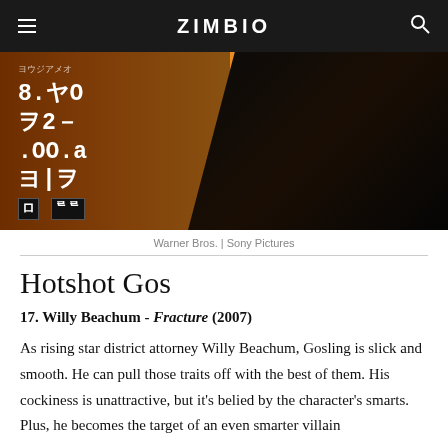ZIMBIO
[Figure (photo): A figure in a dark jacket silhouetted against an orange/yellow background with Japanese text and digital readout panel on the left side of the image.]
Warner Bros. | Sony Pictures
Hotshot Gos
17. Willy Beachum - Fracture (2007)
As rising star district attorney Willy Beachum, Gosling is slick and smooth. He can pull those traits off with the best of them. His cockiness is unattractive, but it's belied by the character's smarts. Plus, he becomes the target of an even smarter villain